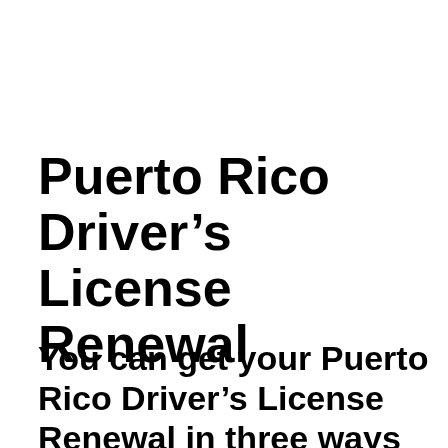Puerto Rico Driver’s License Renewal
You can get your Puerto Rico Driver’s License Renewal in three ways online, by going to